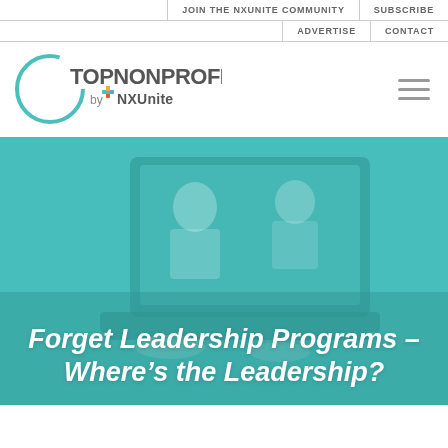JOIN THE NXUNITE COMMUNITY | SUBSCRIBE | ADVERTISE | CONTACT
[Figure (logo): TopNonprofits by NXUnite logo — circular teal arc with text 'TopNonprofits' and 'by NXUnite' with a plus/cross icon]
[Figure (photo): Laptop screen showing a video call with two women smiling, teal-tinted overlay background image]
Forget Leadership Programs – Where's the Leadership?